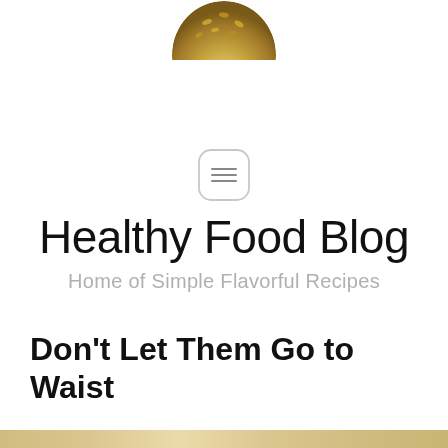[Figure (photo): Top half of a round bread loaf with seeds on top, partially cropped at the top of the page]
[Figure (other): Hamburger menu icon inside a rounded rectangle, light gray border]
Healthy Food Blog
Home of Simple Flavorful Recipes
Don't Let Them Go to Waist
[Figure (photo): Horizontal strip showing the edge of a bread loaf at the bottom of the page]